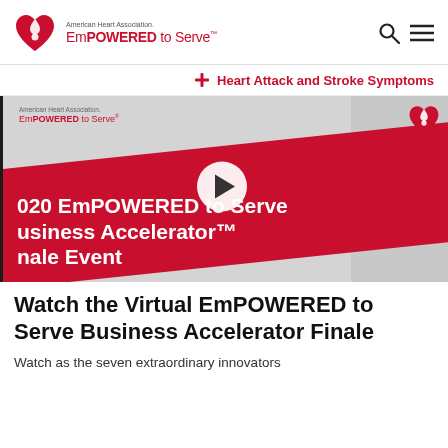American Heart Association. EmPOWERED to Serve
♱ Heart Attack and Stroke Symptoms
[Figure (screenshot): Video thumbnail showing 2020 EmPOWERED to Serve Business Accelerator Finale Event with red banner and play button, AHA logo watermark top right]
Watch the Virtual EmPOWERED to Serve Business Accelerator Finale
Watch as the seven extraordinary innovators